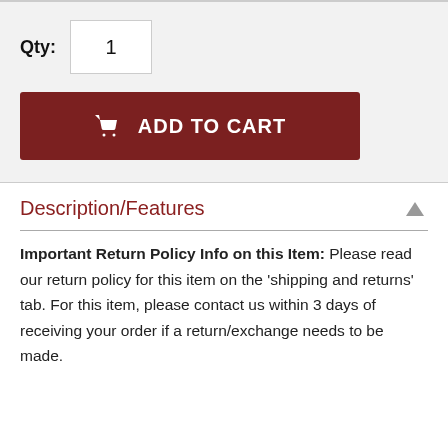Qty: 1
[Figure (other): Add to Cart button with shopping cart icon, dark red background, white text 'ADD TO CART']
Description/Features
Important Return Policy Info on this Item: Please read our return policy for this item on the 'shipping and returns' tab. For this item, please contact us within 3 days of receiving your order if a return/exchange needs to be made.